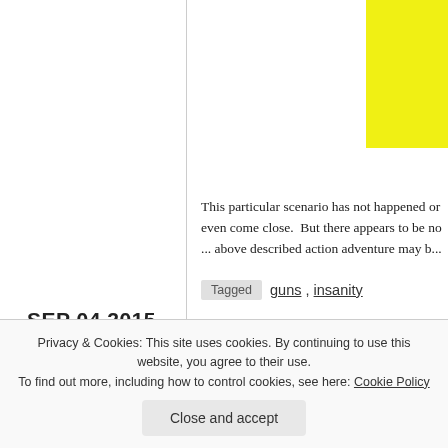[Figure (other): Yellow rectangle in top right of right column]
This particular scenario has not happened or even come close.  But there appears to be no ... above described action adventure may b...
Tagged   guns ,  insanity
SEP 04 2015
LEAVE A COMMENT
PITTS: IF SANDY HOOK IS... DEMOCRAT
Privacy & Cookies: This site uses cookies. By continuing to use this website, you agree to their use.
To find out more, including how to control cookies, see here: Cookie Policy
Close and accept